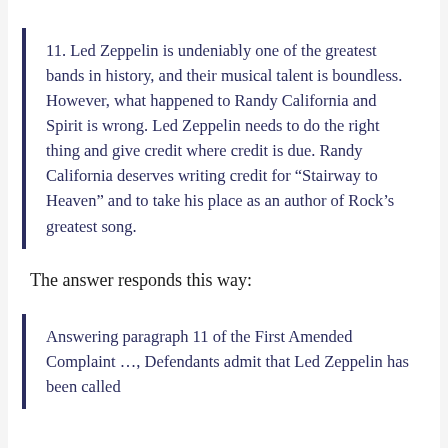11. Led Zeppelin is undeniably one of the greatest bands in history, and their musical talent is boundless. However, what happened to Randy California and Spirit is wrong. Led Zeppelin needs to do the right thing and give credit where credit is due. Randy California deserves writing credit for “Stairway to Heaven” and to take his place as an author of Rock’s greatest song.
The answer responds this way:
Answering paragraph 11 of the First Amended Complaint …, Defendants admit that Led Zeppelin has been called